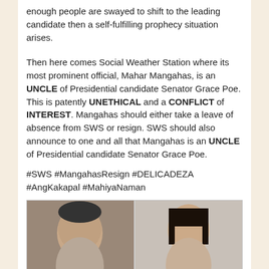enough people are swayed to shift to the leading candidate then a self-fulfilling prophecy situation arises.
Then here comes Social Weather Station where its most prominent official, Mahar Mangahas, is an UNCLE of Presidential candidate Senator Grace Poe. This is patently UNETHICAL and a CONFLICT of INTEREST. Mangahas should either take a leave of absence from SWS or resign. SWS should also announce to one and all that Mangahas is an UNCLE of Presidential candidate Senator Grace Poe.
#SWS #MangahasResign #DELICADEZA #AngKakapal #MahiyaNaman
[Figure (photo): A 2x2 grid of photos showing Philippine presidential candidates. Top-left: a man (Rodrigo Duterte) with number '1' badge. Top-right: a woman (Grace Poe) with number '2' badge. Bottom-left and bottom-right: partially visible photos of two other candidates.]